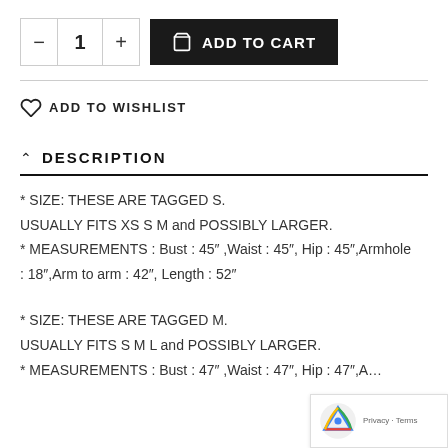[Figure (screenshot): Add to Cart UI with quantity selector (minus, 1, plus) and black ADD TO CART button with shopping bag icon]
ADD TO WISHLIST
DESCRIPTION
* SIZE: THESE ARE TAGGED S.
USUALLY FITS XS S M and POSSIBLY LARGER.
* MEASUREMENTS : Bust : 45″ ,Waist : 45″, Hip : 45″,Armhole : 18″,Arm to arm : 42″, Length : 52″
* SIZE: THESE ARE TAGGED M.
USUALLY FITS S M L and POSSIBLY LARGER.
* MEASUREMENTS : Bust : 47″ ,Waist : 47″, Hip : 47″,Ar...